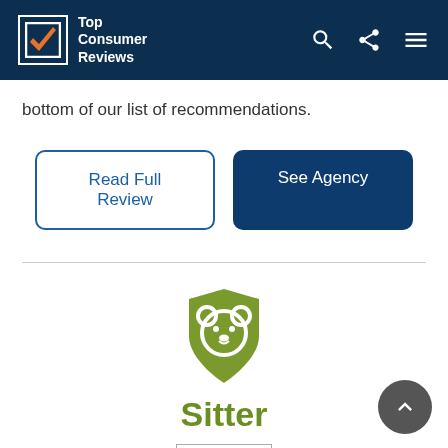Top Consumer Reviews
bottom of our list of recommendations.
Read Full Review | See Agency
[Figure (logo): Sitter app logo: green shield shape with white teddy bear outline, with word 'Sitter' in green below]
1.5 Star Rating
Sitt